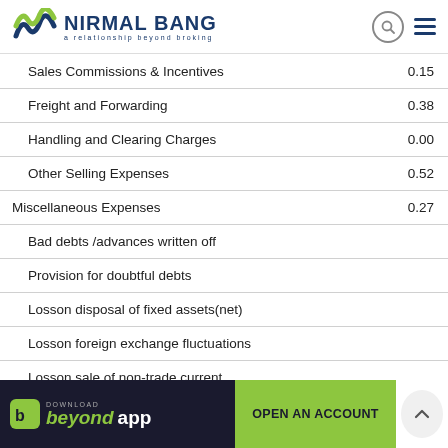NIRMAL BANG - a relationship beyond broking
| Item | Value |
| --- | --- |
| Sales Commissions & Incentives | 0.15 |
| Freight and Forwarding | 0.38 |
| Handling and Clearing Charges | 0.00 |
| Other Selling Expenses | 0.52 |
| Miscellaneous Expenses | 0.27 |
| Bad debts /advances written off |  |
| Provision for doubtful debts |  |
| Losson disposal of fixed assets(net) |  |
| Losson foreign exchange fluctuations |  |
| Losson sale of non-trade current |  |